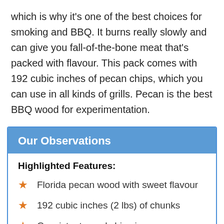which is why it's one of the best choices for smoking and BBQ. It burns really slowly and can give you fall-of-the-bone meat that's packed with flavour. This pack comes with 192 cubic inches of pecan chips, which you can use in all kinds of grills. Pecan is the best BBQ wood for experimentation.
Our Observations
Highlighted Features:
Florida pecan wood with sweet flavour
192 cubic inches (2 lbs) of chunks
Consistent wood chip size